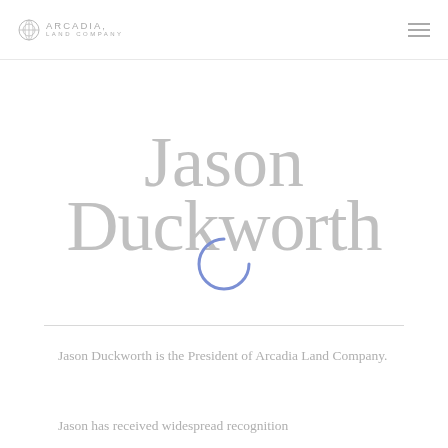Arcadia Land Company
Jason Duckworth
Jason Duckworth is the President of Arcadia Land Company.
Jason has received widespread recognition